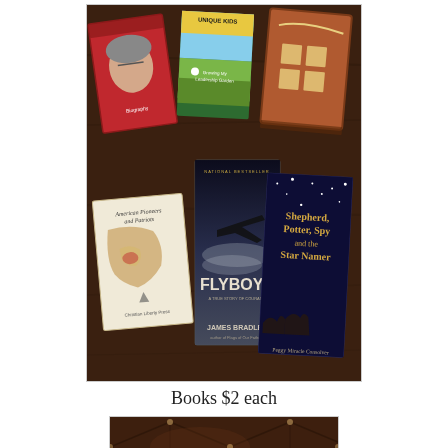[Figure (photo): Photo of several books laid on a dark wooden table: a book about a woman with glasses (red cover), 'Unique Kids: Growing My Leadership Garden', a reddish-brown boxed set, 'American Pioneers and Patriots' (Christian Liberty Press), 'Flyboys' by James Bradley (black cover with airplane), and 'Shepherd, Potter, Spy and the Star Namer' by Peggy Miracle Consolver (dark blue cover with stars and camels).]
Books $2 each
[Figure (photo): Photo of a dark brown tufted leather surface (couch or chair) with several teacher's edition books visible at the bottom: a gray book, a green 'Fifth Reader Teacher's' book, and a yellow 'Sixth Reader Teacher's' book.]